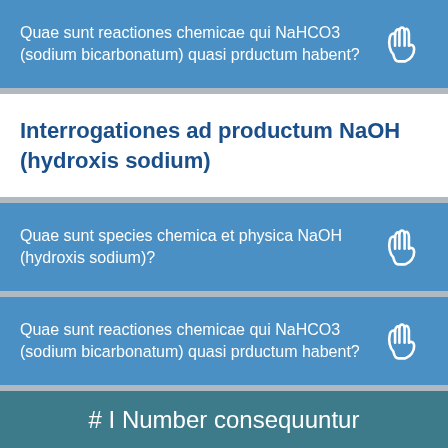Quae sunt reactiones chemicae qui NaHCO3 (sodium bicarbonatum) quasi prductum habent?
Interrogationes ad productum NaOH (hydroxis sodium)
Quae sunt species chemica et physica NaOH (hydroxis sodium)?
Quae sunt reactiones chemicae qui NaHCO3 (sodium bicarbonatum) quasi prductum habent?
# I Number consequuntur